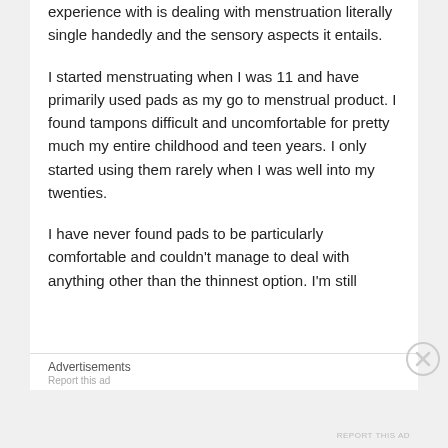experience with is dealing with menstruation literally single handedly and the sensory aspects it entails.
I started menstruating when I was 11 and have primarily used pads as my go to menstrual product. I found tampons difficult and uncomfortable for pretty much my entire childhood and teen years. I only started using them rarely when I was well into my twenties.
I have never found pads to be particularly comfortable and couldn't manage to deal with anything other than the thinnest option. I'm still
Advertisements